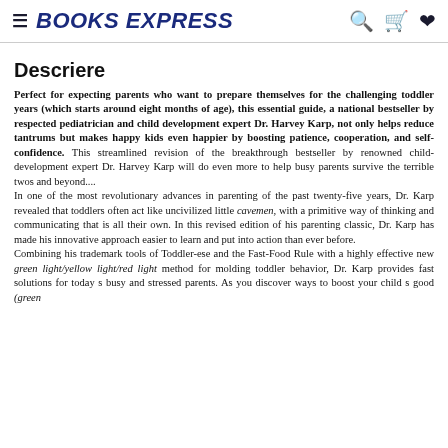BOOKS EXPRESS
Descriere
Perfect for expecting parents who want to prepare themselves for the challenging toddler years (which starts around eight months of age), this essential guide, a national bestseller by respected pediatrician and child development expert Dr. Harvey Karp, not only helps reduce tantrums but makes happy kids even happier by boosting patience, cooperation, and self-confidence. This streamlined revision of the breakthrough bestseller by renowned child-development expert Dr. Harvey Karp will do even more to help busy parents survive the terrible twos and beyond.... In one of the most revolutionary advances in parenting of the past twenty-five years, Dr. Karp revealed that toddlers often act like uncivilized little cavemen, with a primitive way of thinking and communicating that is all their own. In this revised edition of his parenting classic, Dr. Karp has made his innovative approach easier to learn and put into action than ever before. Combining his trademark tools of Toddler-ese and the Fast-Food Rule with a highly effective new green light/yellow light/red light method for molding toddler behavior, Dr. Karp provides fast solutions for today s busy and stressed parents. As you discover ways to boost your child s good (green